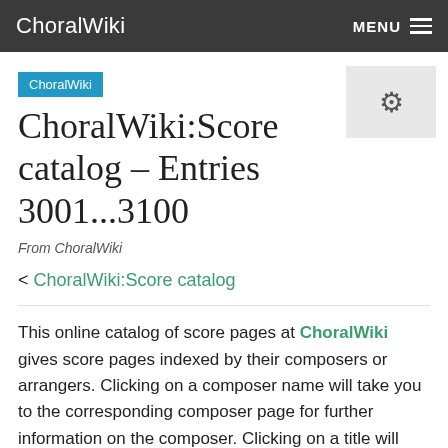ChoralWiki  MENU
ChoralWiki:Score catalog – Entries 3001...3100
From ChoralWiki
< ChoralWiki:Score catalog
This online catalog of score pages at ChoralWiki gives score pages indexed by their composers or arrangers. Clicking on a composer name will take you to the corresponding composer page for further information on the composer. Clicking on a title will take you to the